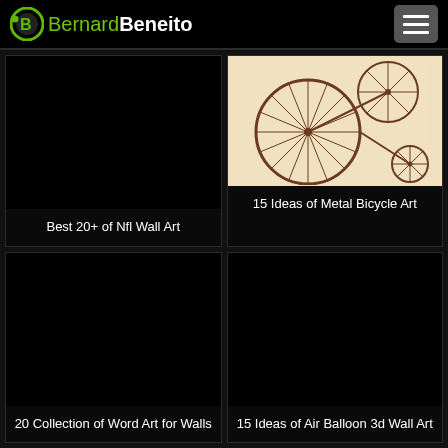BernardBeneito
[Figure (screenshot): Website screenshot showing a grid of 4 art-related article cards on a dark background. Top-left: dark card titled 'Best 20+ of Nfl Wall Art'. Top-right: card with a sepia bicycle wheel image titled '15 Ideas of Metal Bicycle Art'. Bottom-left: dark card titled '20 Collection of Word Art for Walls'. Bottom-right: dark card titled '15 Ideas of Air Balloon 3d Wall Art'.]